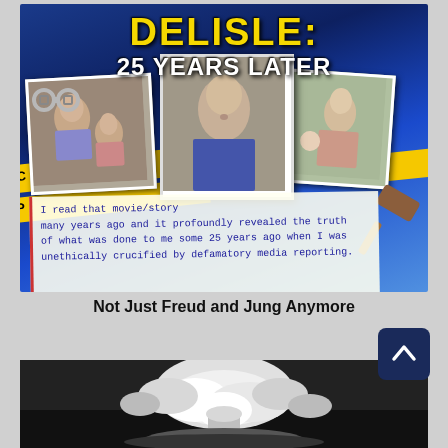[Figure (photo): Promotional graphic for 'DELISLE: 25 YEARS LATER' showing crime scene tape, three photographs (two children on left, adult male mug shot center, child with baby on right), a handwritten note excerpt, handcuffs, and a gavel, all on a blue background.]
Not Just Freud and Jung Anymore
[Figure (photo): Black and white photograph of a mushroom cloud explosion.]